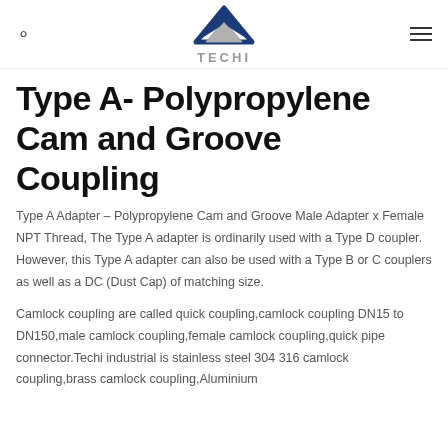TECHI
Type A- Polypropylene Cam and Groove Coupling
Type A Adapter – Polypropylene Cam and Groove Male Adapter x Female NPT Thread, The Type A adapter is ordinarily used with a Type D coupler. However, this Type A adapter can also be used with a Type B or C couplers as well as a DC (Dust Cap) of matching size.
Camlock coupling are called quick coupling,camlock coupling DN15 to DN150,male camlock coupling,female camlock coupling,quick pipe connector.Techi industrial is stainless steel 304 316 camlock coupling,brass camlock coupling,Aluminium